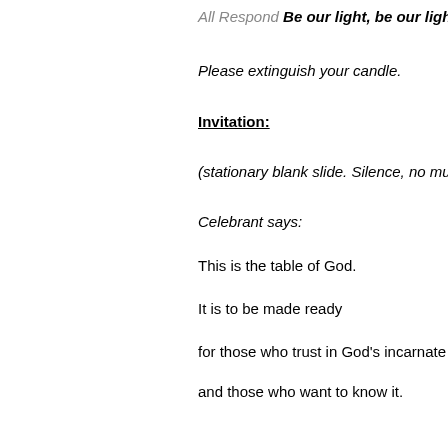All Respond Be our light, be our light
Please extinguish your candle.
Invitation:
(stationary blank slide. Silence, no music
Celebrant says:
This is the table of God.
It is to be made ready
for those who trust in God's incarnate lov
and those who want to know it.
So, come,
You who have much faith
And you who have little
You who have been here often
And you who have not been for a long ti
You who have tried to follow